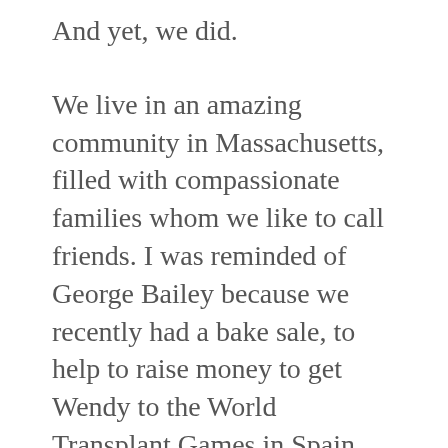And yet, we did.
We live in an amazing community in Massachusetts, filled with compassionate families whom we like to call friends. I was reminded of George Bailey because we recently had a bake sale, to help to raise money to get Wendy to the World Transplant Games in Spain next year.  I approached the soccer league to see if it was possible, and the President jumped through what seemed like a million hoops to make it work.  We had a week to pull one together, so I asked about a dozen friends if they would help me bake.  Then this past